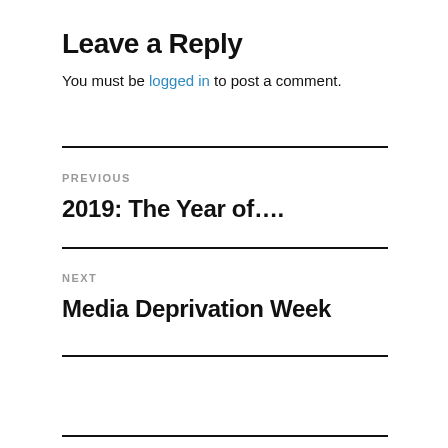Leave a Reply
You must be logged in to post a comment.
PREVIOUS
2019: The Year of....
NEXT
Media Deprivation Week